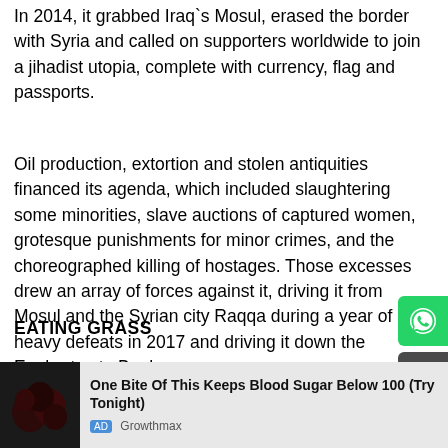In 2014, it grabbed Iraq`s Mosul, erased the border with Syria and called on supporters worldwide to join a jihadist utopia, complete with currency, flag and passports.
Oil production, extortion and stolen antiquities financed its agenda, which included slaughtering some minorities, slave auctions of captured women, grotesque punishments for minor crimes, and the choreographed killing of hostages. Those excesses drew an array of forces against it, driving it from Mosul and the Syrian city Raqqa during a year of heavy defeats in 2017 and driving it down the Euphrates to Baghouz.
EATING GRASS
[Figure (other): Read in App button (red rounded rectangle)]
[Figure (other): WhatsApp share button (green rounded square, right edge)]
[Figure (other): Share button (dark grey rounded square, right edge)]
Over the past two months, some 60,000 people poured out, fleeing SDF bombardment and a shortage of food so severe that son
ikes levelled killed
[Figure (other): Advertisement banner: One Bite Of This Keeps Blood Sugar Below 100 (Try Tonight) - AD Growthmax, with dark berry/grape image on left]